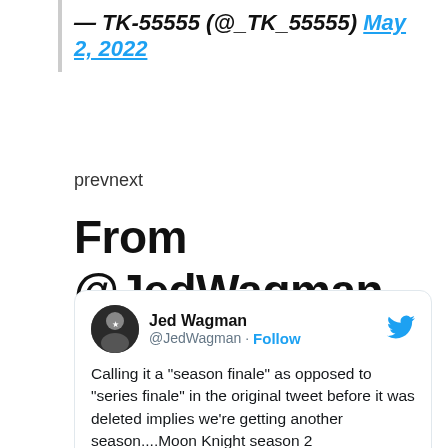— TK-55555 (@_TK_55555) May 2, 2022
prevnext
From @JedWagman
[Figure (screenshot): Embedded tweet from Jed Wagman (@JedWagman) with Follow button and Twitter bird icon. Tweet text: Calling it a "season finale" as opposed to "series finale" in the original tweet before it was deleted implies we're getting another season....Moon Knight season 2 announcement incoming!]